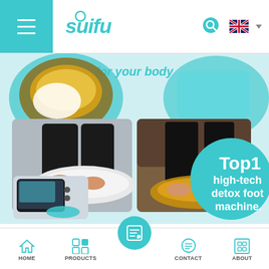[Figure (screenshot): Website header with hamburger menu on teal background on left, 'suifu' logo in teal italic text, search icon and UK flag language selector on right]
[Figure (photo): Product promotional hero image showing detox foot bath machine with people soaking feet in water basins. Text overlay reads 'for your body' and 'Top1 high-tech detox foot machine.' in teal bubble on right side.]
PREVIOUS POST
Negative Ion Potential
NEXT POST
Happy Dragon Boat Festival
[Figure (screenshot): Bottom navigation bar with HOME, PRODUCTS, center blog/post icon in teal circle, CONTACT, and ABOUT icons]